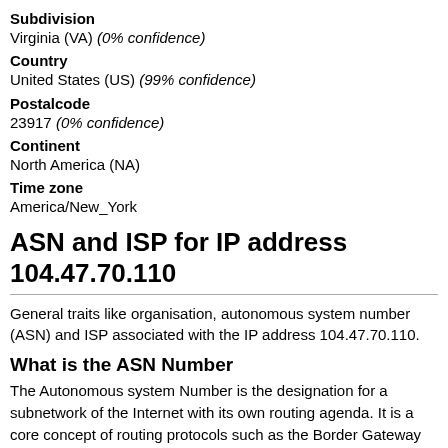Subdivision
Virginia (VA) (0% confidence)
Country
United States (US) (99% confidence)
Postalcode
23917 (0% confidence)
Continent
North America (NA)
Time zone
America/New_York
ASN and ISP for IP address 104.47.70.110
General traits like organisation, autonomous system number (ASN) and ISP associated with the IP address 104.47.70.110.
What is the ASN Number
The Autonomous system Number is the designation for a subnetwork of the Internet with its own routing agenda. It is a core concept of routing protocols such as the Border Gateway Protocol.